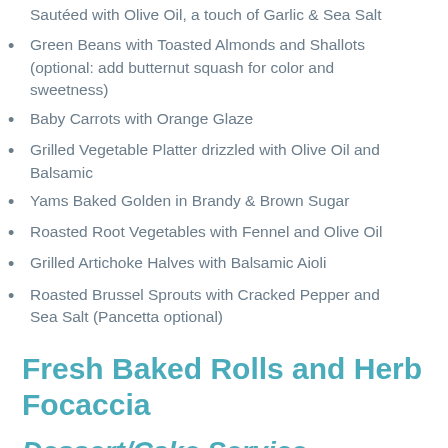Sautéed with Olive Oil, a touch of Garlic & Sea Salt
Green Beans with Toasted Almonds and Shallots (optional: add butternut squash for color and sweetness)
Baby Carrots with Orange Glaze
Grilled Vegetable Platter drizzled with Olive Oil and Balsamic
Yams Baked Golden in Brandy & Brown Sugar
Roasted Root Vegetables with Fennel and Olive Oil
Grilled Artichoke Halves with Balsamic Aioli
Roasted Brussel Sprouts with Cracked Pepper and Sea Salt (Pancetta optional)
Fresh Baked Rolls and Herb Focaccia
Dessert/Cake Service – Includes